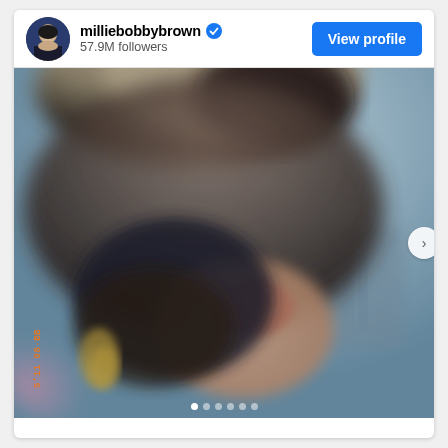[Figure (screenshot): Instagram profile header showing milliebobbybrown with verified checkmark, 57.9M followers, and a blue 'View profile' button]
[Figure (photo): Blurred photo of two people kissing outdoors, with a marina/harbor visible in the background. An orange date/timestamp watermark is visible in the lower left. Carousel dots at bottom indicate multiple photos.]